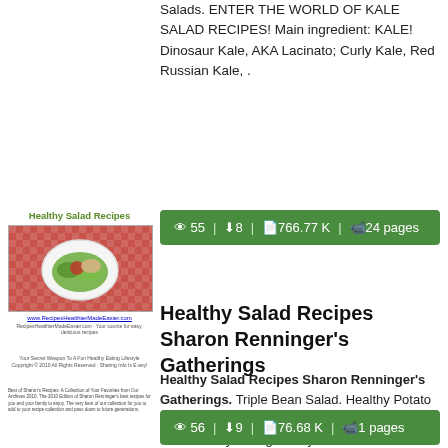Salads. ENTER THE WORLD OF KALE SALAD RECIPES! Main ingredient: KALE! Dinosaur Kale, AKA Lacinato; Curly Kale, Red Russian Kale, .
[Figure (illustration): Book cover thumbnail for Healthy Salad Recipes with food photo and website URL]
👁 55 | ⬇ 8 | 📄 766.77 K | 🖼 24 pages
Healthy Salad Recipes Sharon Renninger's Gatherings
Healthy Salad Recipes Sharon Renninger's Gatherings. Triple Bean Salad. Healthy Potato Salad. Glazed Fruit Salad. Your Secret Weapon To A Healthy Eating Lifestyle .
[Figure (illustration): Small text thumbnail of another document]
👁 56 | ⬇ 9 | 📄 76.68 K | 🖼 1 pages